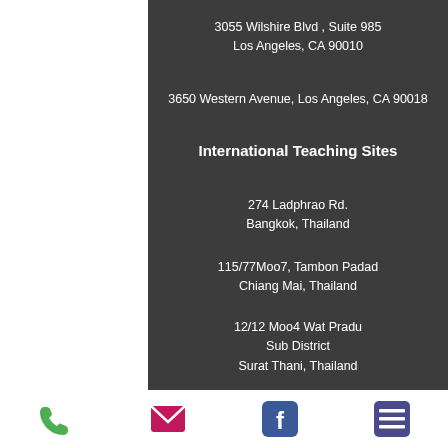3055 Wilshire Blvd , Suite 985
Los Angeles, CA 90010
3650 Western Avenue, Los Angeles, CA 90018
International Teaching Sites
274 Ladphrao Rd.
Bangkok, Thailand
115/77Moo7, Tambon Padad
Chiang Mai, Thailand
12/12 Moo4 Wat Pradu
Sub District
Surat Thani, Thailand
ADMINISTRATION
[Figure (infographic): Footer icons row: phone (green), email/envelope (pink/red), Facebook (blue), list/menu (purple)]